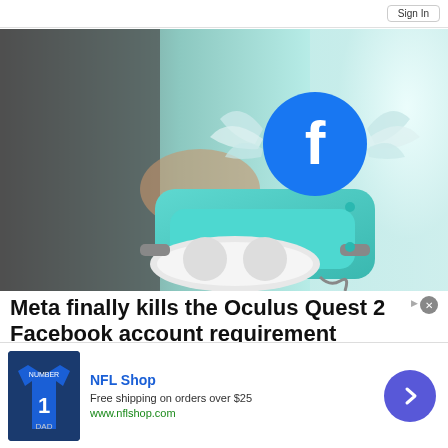[Figure (photo): Person holding a teal/cyan VR headset (Oculus Quest 2) with a flying Facebook logo overlaid on top, wings illustrated around the Facebook 'f' icon circle, bright window in background]
Meta finally kills the Oculus Quest 2 Facebook account requirement
Meta is finally providing a way to remove that Facebook
[Figure (infographic): NFL Shop advertisement banner. Shows a Dallas Cowboys jersey image on the left. Text reads: NFL Shop, Free shipping on orders over $25, www.nflshop.com. Purple circular arrow button on the right.]